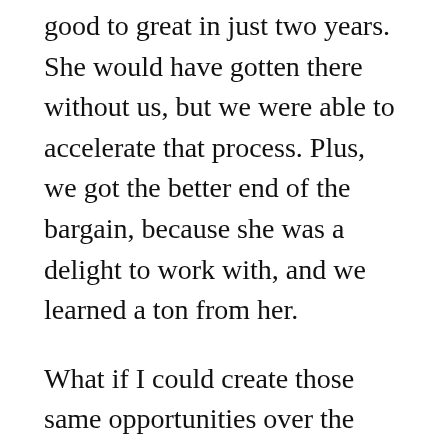good to great in just two years. She would have gotten there without us, but we were able to accelerate that process. Plus, we got the better end of the bargain, because she was a delight to work with, and we learned a ton from her.
What if I could create those same opportunities over the same amount of time for 100 people like Rebecca, talented changemakers building their own practices or embedded in other people's organizations?
This is the question I'm currently pondering. While I do that, I'm going to finish up my client obligations, create lots of space for myself, and